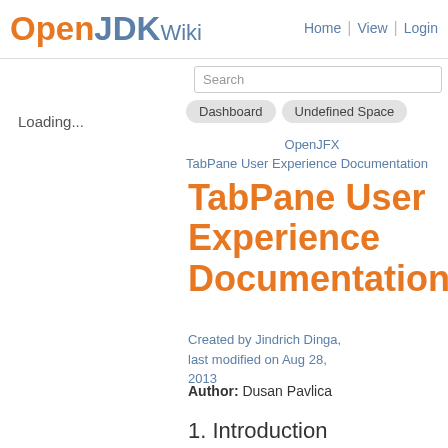OpenJDK Wiki — Home | View | Login
Search
Dashboard   Undefined Space
OpenJFX
TabPane User Experience Documentation
Loading...
TabPane User Experience Documentation
Created by Jindrich Dinga, last modified on Aug 28, 2013
Author: Dusan Pavlica
1. Introduction